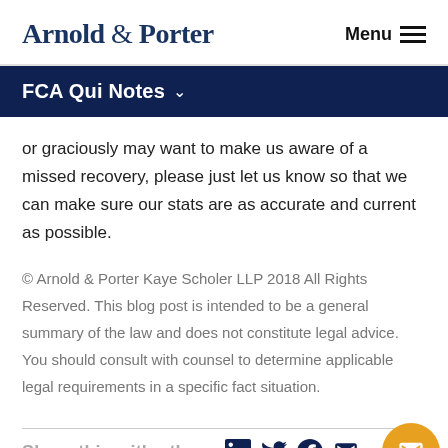Arnold & Porter  Menu
FCA Qui Notes
or graciously may want to make us aware of a missed recovery, please just let us know so that we can make sure our stats are as accurate and current as possible.
© Arnold & Porter Kaye Scholer LLP 2018 All Rights Reserved. This blog post is intended to be a general summary of the law and does not constitute legal advice. You should consult with counsel to determine applicable legal requirements in a specific fact situation.
Share this with others: